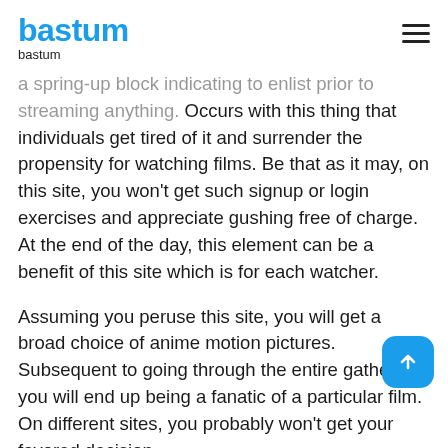bastum
a spring-up block indicating to enlist prior to streaming anything. Occurs with this thing that individuals get tired of it and surrender the propensity for watching films. Be that as it may, on this site, you won't get such signup or login exercises and appreciate gushing free of charge. At the end of the day, this element can be a benefit of this site which is for each watcher.
Assuming you peruse this site, you will get a broad choice of anime motion pictures. Subsequent to going through the entire gathering, you will end up being a fanatic of a particular film. On different sites, you probably won't get your favored decision,